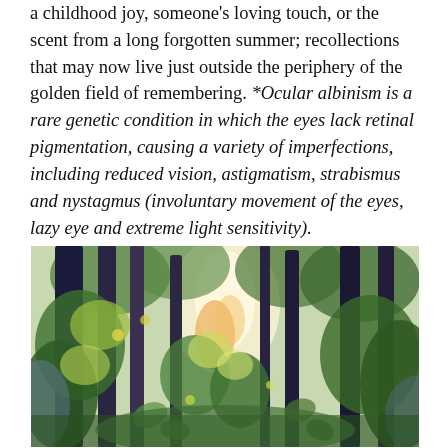a childhood joy, someone's loving touch, or the scent from a long forgotten summer; recollections that may now live just outside the periphery of the golden field of remembering. *Ocular albinism is a rare genetic condition in which the eyes lack retinal pigmentation, causing a variety of imperfections, including reduced vision, astigmatism, strabismus and nystagmus (involuntary movement of the eyes, lazy eye and extreme light sensitivity).
[Figure (illustration): A colorful impressionistic painting of a forest scene with tall dark tree trunks, lush green and yellow-green foliage, and bright light filtering through the canopy from the center background.]